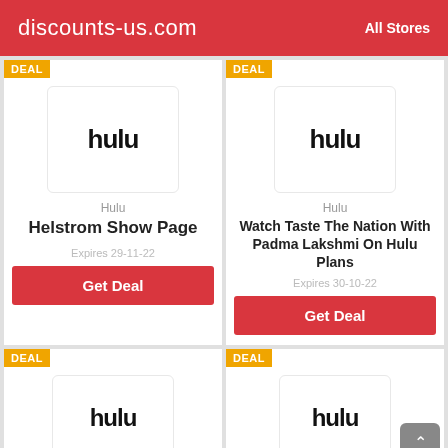discounts-us.com   All Stores
[Figure (logo): Hulu logo in card 1]
Hulu
Helstrom Show Page
Expires 29-11-22
Get Deal
[Figure (logo): Hulu logo in card 2]
Hulu
Watch Taste The Nation With Padma Lakshmi On Hulu Plans
Expires 30-10-22
Get Deal
[Figure (logo): Hulu logo in card 3 (partial)]
[Figure (logo): Hulu logo in card 4 (partial)]